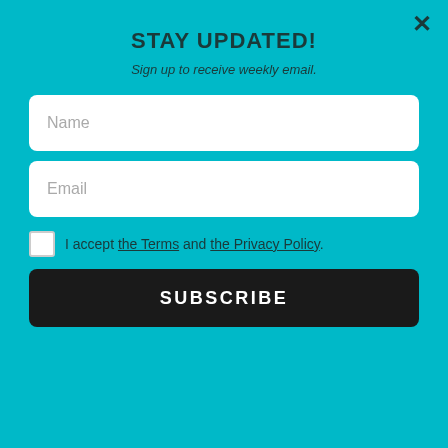STAY UPDATED!
Sign up to receive weekly email.
Name
Email
I accept the Terms and the Privacy Policy.
SUBSCRIBE
⚡by Convertful
Multi-Functioning Toaster
Bring The Family Together And Make A Complete Breakfast With Just One Appliance. Prepare your coffee, toast and eggs at one time saving you time and space on your counter. This versatile breakfast station covers your entire morning bre...
Via Amazon